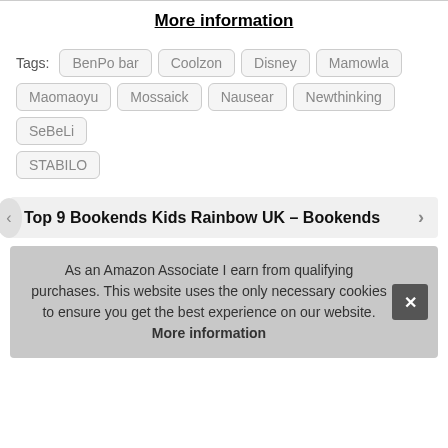More information
Tags: BenPo bar  Coolzon  Disney  Mamowla  Maomaoyu  Mossaick  Nausear  Newthinking  SeBeLi  STABILO
Top 9 Bookends Kids Rainbow UK – Bookends
As an Amazon Associate I earn from qualifying purchases. This website uses the only necessary cookies to ensure you get the best experience on our website. More information